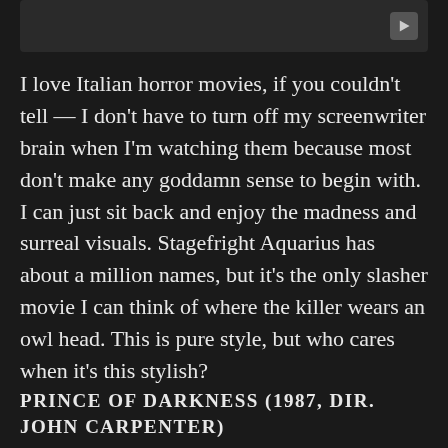[Figure (screenshot): Video thumbnail placeholder with dark background and play button icon in top-right corner]
I love Italian horror movies, if you couldn't tell — I don't have to turn off my screenwriter brain when I'm watching them because most don't make any goddamn sense to begin with. I can just sit back and enjoy the madness and surreal visuals. Stagefright Aquarius has about a million names, but it's the only slasher movie I can think of where the killer wears an owl head. This is pure style, but who cares when it's this stylish?
PRINCE OF DARKNESS (1987, DIR. JOHN CARPENTER)